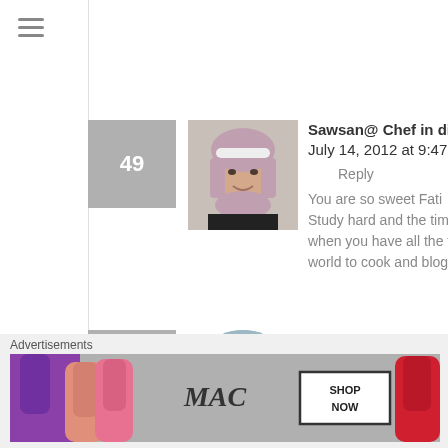≡
49
[Figure (photo): Profile photo of a woman wearing a hijab]
Sawsan@ Chef in disguise on July 14, 2012 at 9:47 PM
Reply
Like
You are so sweet Fati
Study hard and the time will come when you have all the time in the world to cook and blog
50
[Figure (logo): My Kitchen Kohl circular logo in teal/blue]
fati's recipes on July 14, 2012 at 11:28 PM
Like
😀 Thank you Sawsan... that's
Advertisements
[Figure (photo): MAC cosmetics advertisement banner with lipsticks and SHOP NOW button]